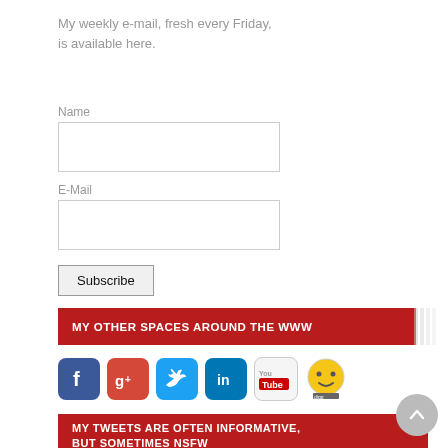My weekly e-mail, fresh every Friday, is available here.
Name
E-Mail
Subscribe
MY OTHER SPACES AROUND THE WWW
[Figure (illustration): Row of social media icons: Facebook, Google+, Twitter, LinkedIn, YouTube, Digg]
MY TWEETS ARE OFTEN INFORMATIVE, BUT SOMETIMES NSFW